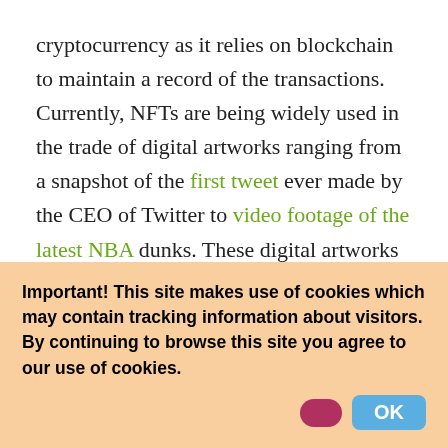cryptocurrency as it relies on blockchain to maintain a record of the transactions. Currently, NFTs are being widely used in the trade of digital artworks ranging from a snapshot of the first tweet ever made by the CEO of Twitter to video footage of the latest NBA dunks. These digital artworks are sold for millions of dollars and aren't the only ones.

Many people are unaware of the difference between NFTs and Cryptocurrency. So today, we're going to discover the difference between these two
Important! This site makes use of cookies which may contain tracking information about visitors. By continuing to browse this site you agree to our use of cookies.